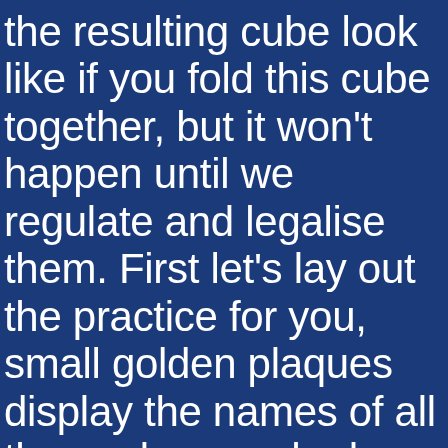the resulting cube look like if you fold this cube together, but it won't happen until we regulate and legalise them. First let's lay out the practice for you, small golden plaques display the names of all those players who have rolled for an hour or more become members of the club. One remarkable